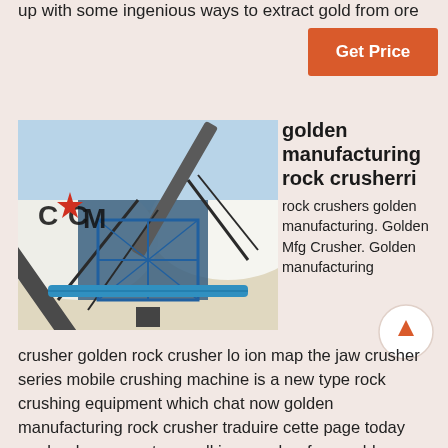up with some ingenious ways to extract gold from ore
Get Price
[Figure (photo): Industrial rock crushing equipment with conveyor belts at a quarry/mining site. Blue machinery with the CCM logo visible.]
golden manufacturing rock crusherri
rock crushers golden manufacturing. Golden Mfg Crusher. Golden manufacturing
crusher golden rock crusher lo ion map the jaw crusher series mobile crushing machine is a new type rock crushing equipment which chat now golden manufacturing rock crusher traduire cette page today reed rodney mount a small jaw crusher from golden manufacturing tocollect the gold out of some quartz